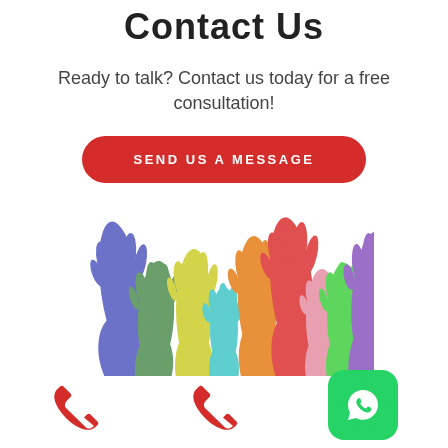Contact Us
Ready to talk? Contact us today for a free consultation!
[Figure (other): Red rounded rectangle button with white uppercase text SEND US A MESSAGE]
[Figure (illustration): Colorful silhouette hands raised up in a rainbow of colors: blue, green, yellow, orange, red, teal, pink, green, purple]
[Figure (other): Two red phone/call icons and one green WhatsApp icon at the bottom of the page]